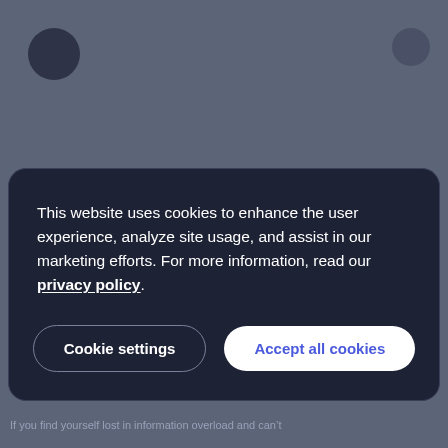[Figure (screenshot): Cookie consent modal overlay on a blurred website background. Dark navy modal with text about cookies and two buttons: 'Cookie settings' and 'Accept all cookies'.]
This website uses cookies to enhance the user experience, analyze site usage, and assist in our marketing efforts. For more information, read our privacy policy.
Cookie settings
Accept all cookies